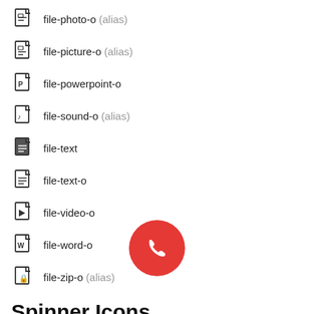file-photo-o (alias)
file-picture-o (alias)
file-powerpoint-o
file-sound-o (alias)
file-text
file-text-o
file-video-o
file-word-o
file-zip-o (alias)
Spinner Icons
These icons work with the fa-spin class.